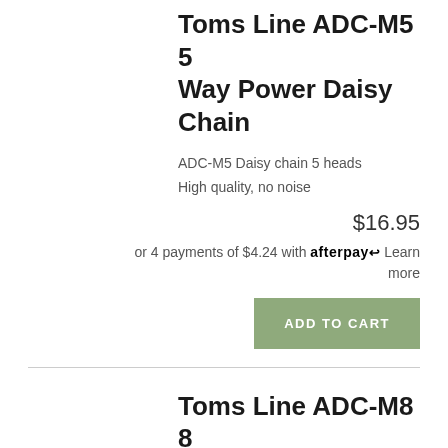Toms Line ADC-M5 5 Way Power Daisy Chain
ADC-M5 Daisy chain 5 heads
High quality, no noise
$16.95
or 4 payments of $4.24 with afterpay Learn more
ADD TO CART
Toms Line ADC-M8 8 Way Power Daisy Chain
ADC-M8 Daisy chain 8 heads
High quality, no noise